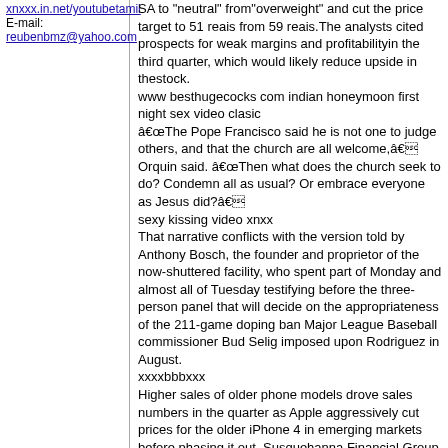xnxxx.in.net/youtubetamil
E-mail: reubenbmz@yahoo.com
SA to "neutral" from"overweight" and cut the price target to 51 reais from 59 reais.The analysts cited prospects for weak margins and profitabilityin the third quarter, which would likely reduce upside in thestock.
www besthugecocks com indian honeymoon first night sex video clasic
äThe Pope Francisco said he is not one to judge others, and that the church are all welcome,ä Orquin said. äThen what does the church seek to do? Condemn all as usual? Or embrace everyone as Jesus did?ä
sexy kissing video xnxx
That narrative conflicts with the version told by Anthony Bosch, the founder and proprietor of the now-shuttered facility, who spent part of Monday and almost all of Tuesday testifying before the three-person panel that will decide on the appropriateness of the 211-game doping ban Major League Baseball commissioner Bud Selig imposed upon Rodriguez in August.
xxxxbbbxxx
Higher sales of older phone models drove sales numbers in the quarter as Apple aggressively cut prices for the older iPhone 4 in emerging markets before phasing it out, Susquehanna Financial Group analyst Chris Caso wrote in a note.
madthumbshamster
&ldquo;In trading terms, 2013 has begun much as we expected,&rdquo; he said. &ldquo;In general, good growth in our digital, services and developing-market businesses continues to offset tough conditions for traditional publishing.&rdquo;
Added: January 9, 2020